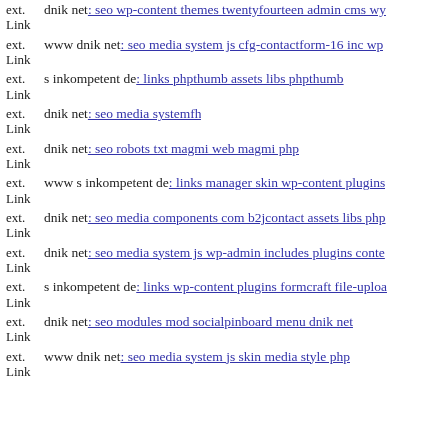ext. Link dnik net: seo wp-content themes twentyfourteen admin cms wy
ext. Link www dnik net: seo media system js cfg-contactform-16 inc wp
ext. Link s inkompetent de: links phpthumb assets libs phpthumb
ext. Link dnik net: seo media systemfh
ext. Link dnik net: seo robots txt magmi web magmi php
ext. Link www s inkompetent de: links manager skin wp-content plugins
ext. Link dnik net: seo media components com b2jcontact assets libs php
ext. Link dnik net: seo media system js wp-admin includes plugins conte
ext. Link s inkompetent de: links wp-content plugins formcraft file-uploa
ext. Link dnik net: seo modules mod socialpinboard menu dnik net
ext. Link www dnik net: seo media system js skin media style php